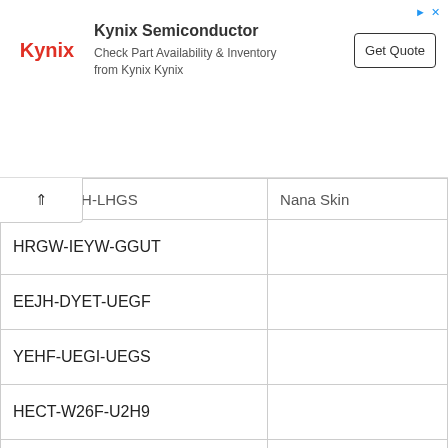[Figure (other): Kynix Semiconductor advertisement banner with logo, text 'Check Part Availability & Inventory from Kynix Kynix', and Get Quote button]
| Code | Name/Skin |
| --- | --- |
| YHW-U1ZH-LHGS | Nana Skin |
| HRGW-IEYW-GGUT |  |
| EEJH-DYET-UEGF |  |
| YEHF-UEGI-UEGS |  |
| HECT-W26F-U2H9 |  |
| GE5G-UE6G-G256 | Emotes |
| Y2GT-Y257-I37G |  |
| GE54-H26W-OEU7 |  |
| GW75-H26R-IE76 | Outfits |